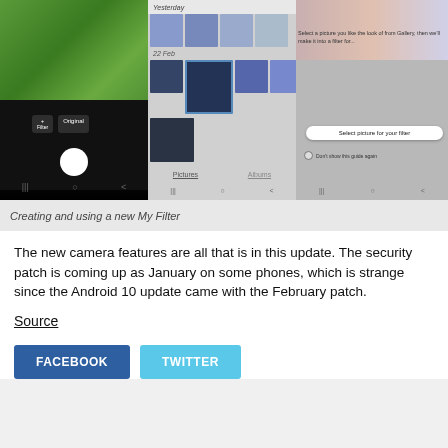[Figure (screenshot): Three smartphone screenshots showing a camera app with filter selection, a photo gallery view, and a 'Select picture for your filter' guide overlay.]
Creating and using a new My Filter
The new camera features are all that is in this update. The security patch is coming up as January on some phones, which is strange since the Android 10 update came with the February patch.
Source
FACEBOOK
TWITTER